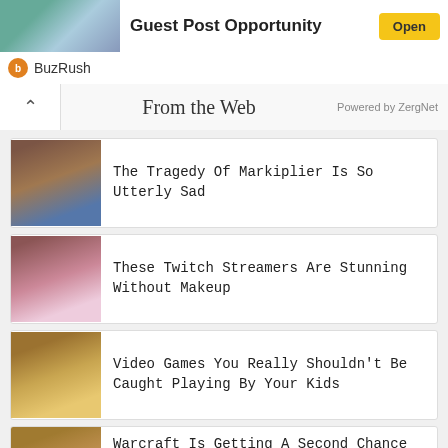Guest Post Opportunity — Open
BuzRush
From the Web  Powered by ZergNet
[Figure (photo): Thumbnail photo of Markiplier]
The Tragedy Of Markiplier Is So Utterly Sad
[Figure (photo): Thumbnail photo of a female Twitch streamer without makeup]
These Twitch Streamers Are Stunning Without Makeup
[Figure (photo): Thumbnail of a video game character]
Video Games You Really Shouldn't Be Caught Playing By Your Kids
[Figure (photo): Thumbnail of Warcraft character]
Warcraft Is Getting A Second Chance At The Big Screen